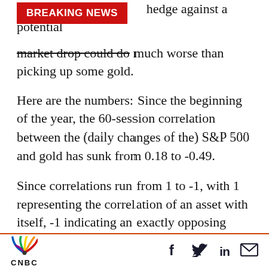BREAKING NEWS
hedge against a potential market drop could do much worse than picking up some gold.
Here are the numbers: Since the beginning of the year, the 60-session correlation between the (daily changes of the) S&P 500 and gold has sunk from 0.18 to -0.49.
Since correlations run from 1 to -1, with 1 representing the correlation of an asset with itself, -1 indicating an exactly opposing relationship and 0 meaning perfect indifference, this is a huge swing that would appear to indicate
CNBC